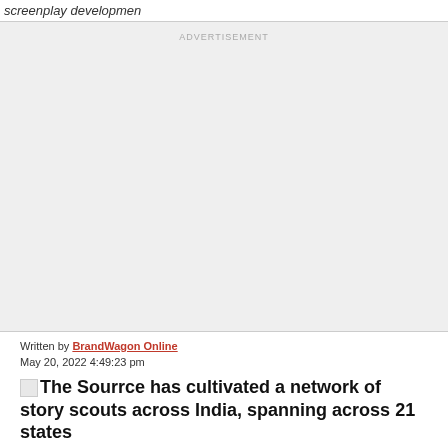screenplay developmen
[Figure (other): Advertisement placeholder block with 'ADVERTISEMENT' label text on gray background]
Written by BrandWagon Online
May 20, 2022 4:49:23 pm
The Sourrce has cultivated a network of story scouts across India, spanning across 21 states
The Sourrce has cultivated a network of story scouts across India, spanning